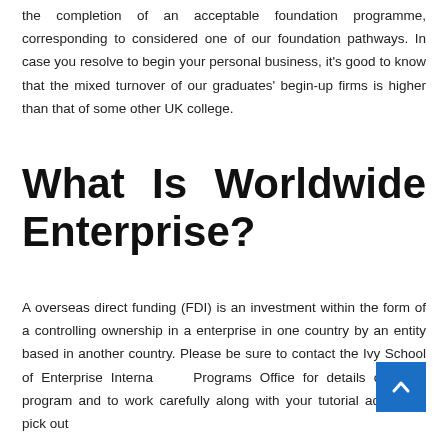the completion of an acceptable foundation programme, corresponding to considered one of our foundation pathways. In case you resolve to begin your personal business, it's good to know that the mixed turnover of our graduates' begin-up firms is higher than that of some other UK college.
What Is Worldwide Enterprise?
A overseas direct funding (FDI) is an investment within the form of a controlling ownership in a enterprise in one country by an entity based in another country. Please be sure to contact the Ivy School of Enterprise International Programs Office for details on each program and to work carefully along with your tutorial advisor to pick out